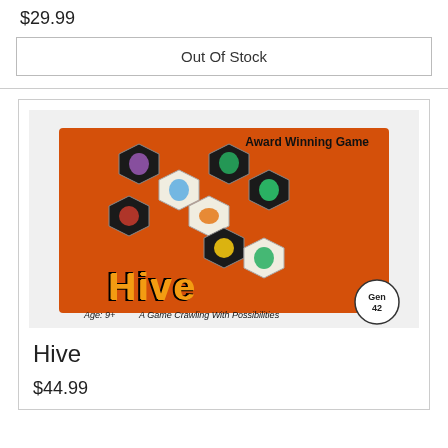$29.99
Out Of Stock
[Figure (photo): Box art for the Hive board game showing hexagonal insect tiles on an orange background. Text reads 'Award Winning Game', 'Hive', 'Age: 9+', 'A Game Crawling With Possibilities', Gen42 logo.]
Hive
$44.99